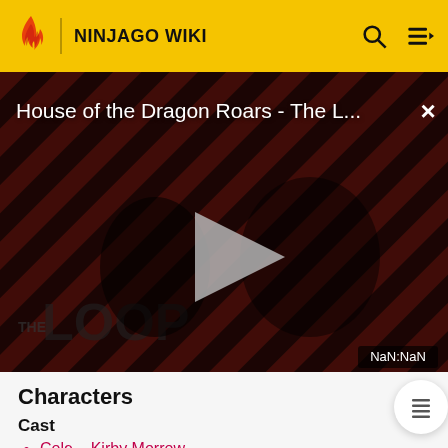NINJAGO WIKI
[Figure (screenshot): Video player overlay showing 'House of the Dragon Roars - The L...' with a play button in the center, striped red/dark background with silhouettes of people, 'THE LOOP' text at bottom left, close button (×) at top right, and timer showing NaN:NaN at bottom right.]
Characters
Cast
Cole – Kirby Morrow
Garmadon – Mark Oliver